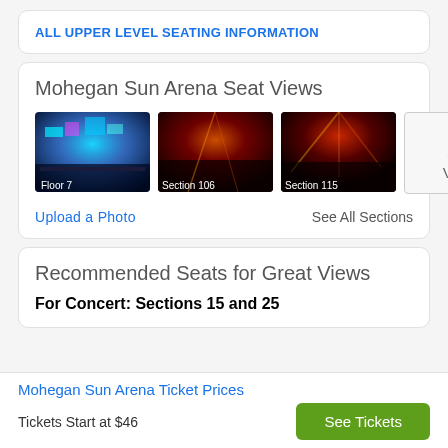ALL UPPER LEVEL SEATING INFORMATION
Mohegan Sun Arena Seat Views
[Figure (photo): Concert venue photo labeled Floor 7]
[Figure (photo): Concert venue photo labeled Section 106]
[Figure (photo): Concert venue photo labeled Section 115]
All Seat Views
Upload a Photo
See All Sections
Recommended Seats for Great Views
For Concert: Sections 15 and 25
Mohegan Sun Arena Ticket Prices
Tickets Start at $46
See Tickets